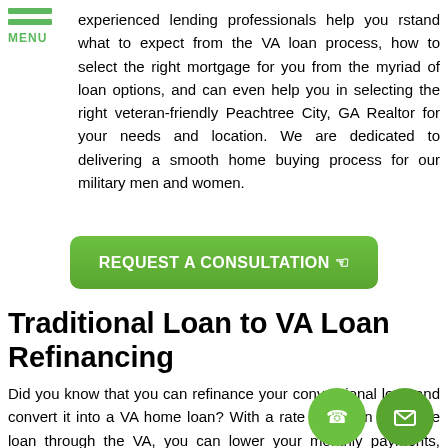MENU
experienced lending professionals help you rstand what to expect from the VA loan process, how to select the right mortgage for you from the myriad of loan options, and can even help you in selecting the right veteran-friendly Peachtree City, GA Realtor for your needs and location. We are dedicated to delivering a smooth home buying process for our military men and women.
[Figure (other): Green button: REQUEST A CONSULTATION with hand pointer icon]
Traditional Loan to VA Loan Refinancing
Did you know that you can refinance your conventional loan and convert it into a VA home loan? With a rate reduction refinance loan through the VA, you can lower your monthly payments, reduce your mortgage rate, or even cashout the current equity you have in your home.